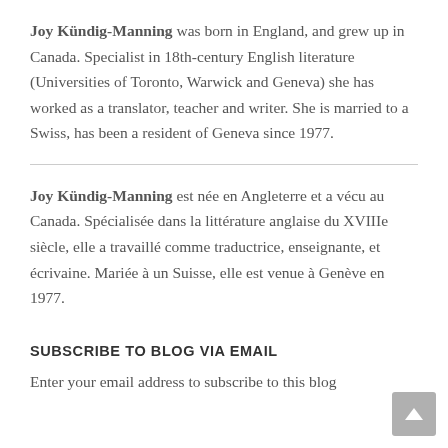Joy Kündig-Manning was born in England, and grew up in Canada. Specialist in 18th-century English literature (Universities of Toronto, Warwick and Geneva) she has worked as a translator, teacher and writer. She is married to a Swiss, has been a resident of Geneva since 1977.
Joy Kündig-Manning est née en Angleterre et a vécu au Canada. Spécialisée dans la littérature anglaise du XVIIIe siècle, elle a travaillé comme traductrice, enseignante, et écrivaine. Mariée à un Suisse, elle est venue à Genève en 1977.
SUBSCRIBE TO BLOG VIA EMAIL
Enter your email address to subscribe to this blog